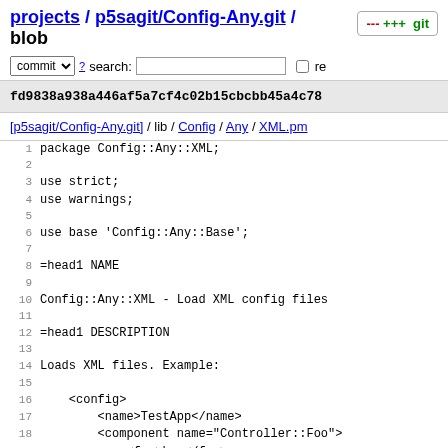projects / p5sagit/Config-Any.git / blob
commit ? search: re
fd9838a938a446af5a7cf4c02b15cbcbb45a4c78
[p5sagit/Config-Any.git] / lib / Config / Any / XML.pm
1  package Config::Any::XML;
2
3  use strict;
4  use warnings;
5
6  use base 'Config::Any::Base';
7
8  =head1 NAME
9
10 Config::Any::XML - Load XML config files
11
12 =head1 DESCRIPTION
13
14 Loads XML files. Example:
15
16     <config>
17         <name>TestApp</name>
18         <component name="Controller::Foo">
19             <foo>bar</foo>
20         </component>
21 ...